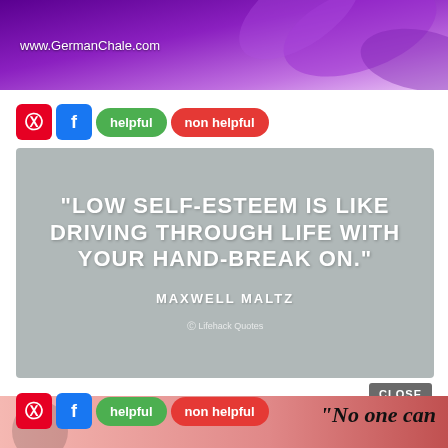[Figure (photo): Purple flower/petal background banner with URL www.GermanChale.com in white text]
[Figure (infographic): Social sharing buttons: Pinterest (red), Facebook (blue), green 'helpful' button, red 'non helpful' button]
[Figure (infographic): Quote card on gray background: '"LOW SELF-ESTEEM IS LIKE DRIVING THROUGH LIFE WITH YOUR HAND-BREAK ON."' attributed to MAXWELL MALTZ, with small Lifehack Quotes watermark]
[Figure (screenshot): Close button and ad banner: '37 HOME AND KITCHEN ITEMS EVERYONE SHOULD OWN' with 22Words badge]
[Figure (infographic): Social sharing buttons: Pinterest (red), Facebook (blue), green 'helpful' button, red 'non helpful' button at bottom]
"No one can